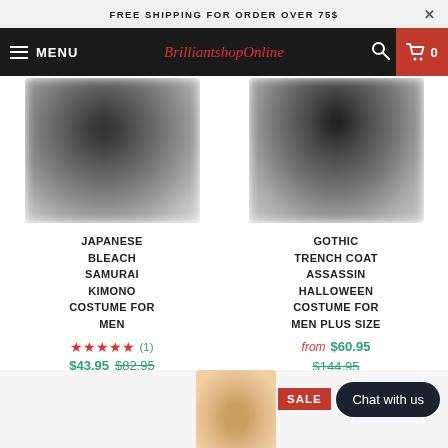FREE SHIPPING FOR ORDER OVER 75$
[Figure (screenshot): E-commerce website navigation bar with hamburger menu, MENU text, BrilliantshopOnline logo in red italic script, search icon, and red cart icon showing 0 items]
[Figure (photo): Blurred product image of Japanese Bleach Samurai Kimono Costume for Men, dark colored costume]
JAPANESE BLEACH SAMURAI KIMONO COSTUME FOR MEN
★★★★★ (1)
$43.95 $82.95
[Figure (photo): Blurred product image of Gothic Trench Coat Assassin Halloween Costume for Men Plus Size, dark colored costume]
GOTHIC TRENCH COAT ASSASSIN HALLOWEEN COSTUME FOR MEN PLUS SIZE
from $60.95
$144.95
[Figure (photo): Partial view of another costume product at the bottom with a SALE badge]
Chat with us